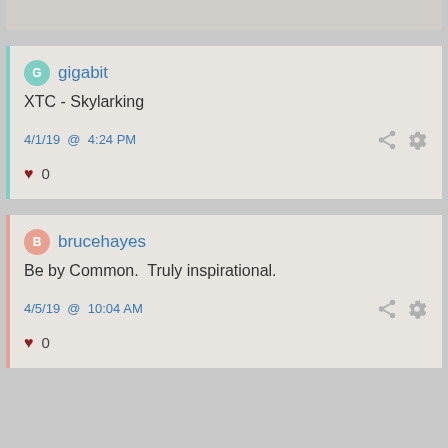gigabit
XTC - Skylarking
4/1/19 @ 4:24 PM
♥ 0
brucehayes
Be by Common.  Truly inspirational.
4/5/19 @ 10:04 AM
♥ 0